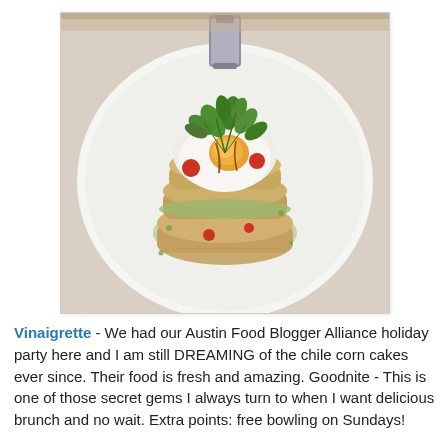[Figure (photo): Overhead close-up photo of a stacked savory dish — chile corn cakes layered with avocado sauce, topped with a sunny-side-up fried egg, cherry tomatoes, and fresh herbs (cilantro/parsley), served on a white plate with a small metal sauce pitcher visible at top.]
Vinaigrette - We had our Austin Food Blogger Alliance holiday party here and I am still DREAMING of the chile corn cakes ever since. Their food is fresh and amazing. Goodnite - This is one of those secret gems I always turn to when I want delicious brunch and no wait. Extra points: free bowling on Sundays!